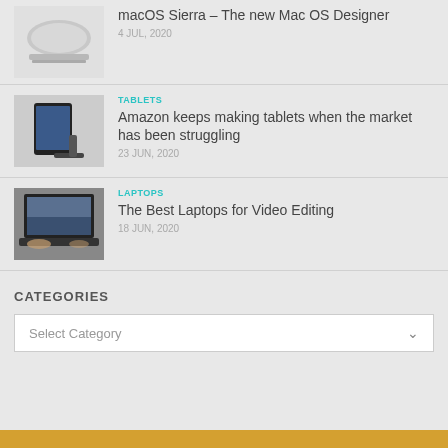[Figure (photo): Silver MacBook laptop viewed from above]
macOS Sierra – The new Mac OS Designer
4 JUL, 2020
TABLETS
[Figure (photo): Amazon tablet on a stand]
Amazon keeps making tablets when the market has been struggling
23 JUN, 2020
LAPTOPS
[Figure (photo): Person using a dark laptop for video editing]
The Best Laptops for Video Editing
18 JUN, 2020
CATEGORIES
Select Category